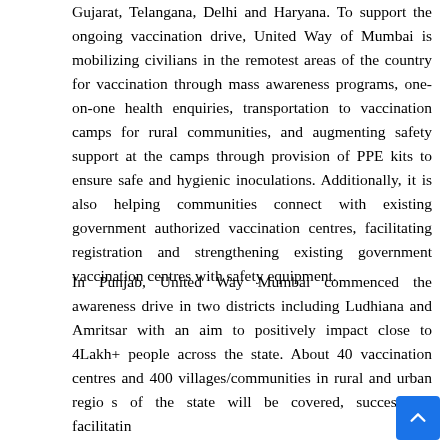Gujarat, Telangana, Delhi and Haryana. To support the ongoing vaccination drive, United Way of Mumbai is mobilizing civilians in the remotest areas of the country for vaccination through mass awareness programs, one-on-one health enquiries, transportation to vaccination camps for rural communities, and augmenting safety support at the camps through provision of PPE kits to ensure safe and hygienic inoculations. Additionally, it is also helping communities connect with existing government authorized vaccination centres, facilitating registration and strengthening existing government vaccination centres with safety equipment.
In Punjab, United Way Mumbai commenced the awareness drive in two districts including Ludhiana and Amritsar with an aim to positively impact close to 4Lakh+ people across the state. About 40 vaccination centres and 400 villages/communities in rural and urban regions of the state will be covered, successfully facilitating